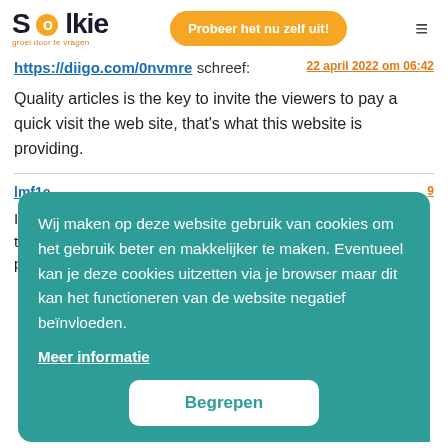Solkie — groei door te vragen | Probeer het nu zelf uit!
https://diigo.com/0nvmre schreef: 22 april 2022 om 06:42
Quality articles is the key to invite the viewers to pay a quick visit the web site, that's what this website is providing.
lmf1e…
I am a… tons of… provid…
Wij maken op deze website gebruik van cookies om het gebruik beter en makkelijker te maken. Eventueel kan je deze cookies uitzetten via je browser maar dit kan het functioneren van de website negatief beïnvloeden.
Meer informatie
Begrepen